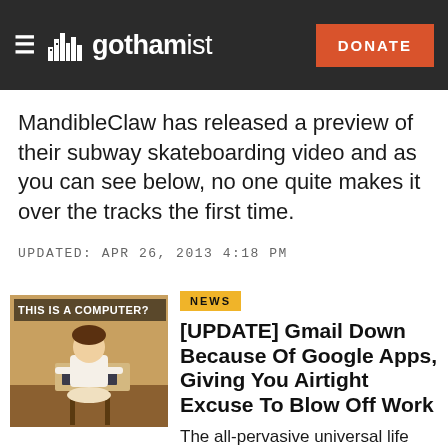gothamist — DONATE
MandibleClaw has released a preview of their subway skateboarding video and as you can see below, no one quite makes it over the tracks the first time.
UPDATED: APR 26, 2013 4:18 PM
[Figure (photo): Vintage black and white photo of a woman with text overlay 'THIS IS A COMPUTER?']
NEWS
[UPDATE] Gmail Down Because Of Google Apps, Giving You Airtight Excuse To Blow Off Work
The all-pervasive universal life force that is Gmail has failed us this